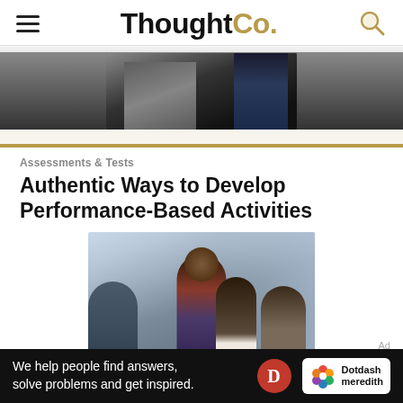ThoughtCo.
[Figure (photo): Partial top banner image showing a dark background with a person and equipment]
Assessments & Tests
Authentic Ways to Develop Performance-Based Activities
[Figure (photo): Woman with natural hair standing and smiling, presenting to a group of people seated around a table in a bright windowed room]
We help people find answers, solve problems and get inspired.
[Figure (logo): Dotdash Meredith logo with D circle and flower icon]